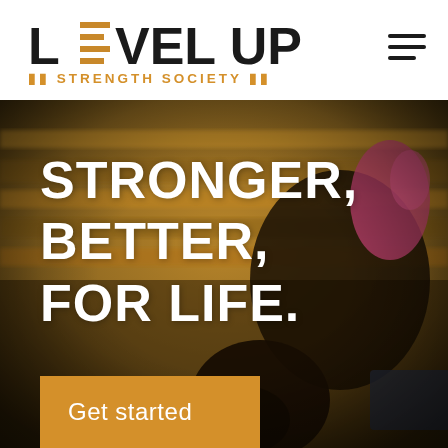[Figure (logo): Level Up Strength Society logo with stylized E made of horizontal lines in orange/gold, text in dark charcoal]
[Figure (photo): Gym background photo showing a person with dark hair in a ponytail doing exercise, wooden wall in background, blurred/bokeh effect, warm amber tones]
STRONGER, BETTER, FOR LIFE.
Get started